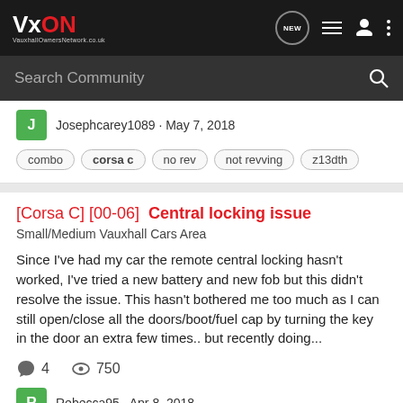VxON VauxhallOwnersNetwork.co.uk
Search Community
Josephcarey1089 · May 7, 2018
combo  corsa c  no rev  not revving  z13dth
[Corsa C] [00-06]  Central locking issue
Small/Medium Vauxhall Cars Area
Since I've had my car the remote central locking hasn't worked, I've tried a new battery and new fob but this didn't resolve the issue. This hasn't bothered me too much as I can still open/close all the doors/boot/fuel cap by turning the key in the door an extra few times.. but recently doing...
4  750
Rebecca95 · Apr 8, 2018
central locking  corsa c  issues